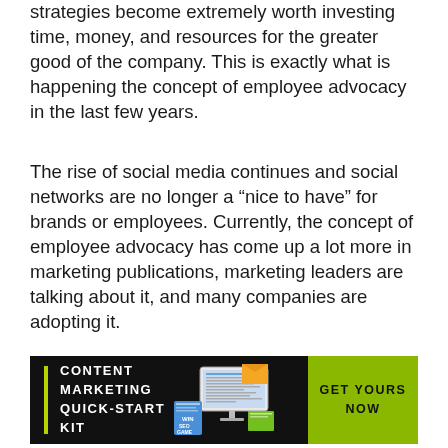strategies become extremely worth investing time, money, and resources for the greater good of the company. This is exactly what is happening the concept of employee advocacy in the last few years.
The rise of social media continues and social networks are no longer a “nice to have” for brands or employees. Currently, the concept of employee advocacy has come up a lot more in marketing publications, marketing leaders are talking about it, and many companies are adopting it.
[Figure (infographic): Content Marketing Quick-Start Kit banner ad with a yellow accent bar on the left, illustration of marketing kit materials in center, and a lime-green 'GET YOURS NOW' call-to-action button on the right, on a black background.]